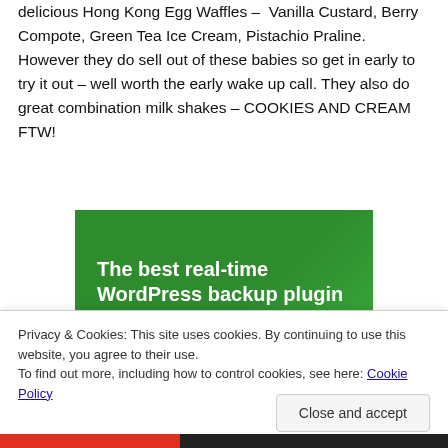delicious Hong Kong Egg Waffles – Vanilla Custard, Berry Compote, Green Tea Ice Cream, Pistachio Praline. However they do sell out of these babies so get in early to try it out – well worth the early wake up call. They also do great combination milk shakes – COOKIES AND CREAM FTW!
[Figure (other): Green advertisement banner reading 'The best real-time WordPress backup plugin']
Privacy & Cookies: This site uses cookies. By continuing to use this website, you agree to their use.
To find out more, including how to control cookies, see here: Cookie Policy
Close and accept